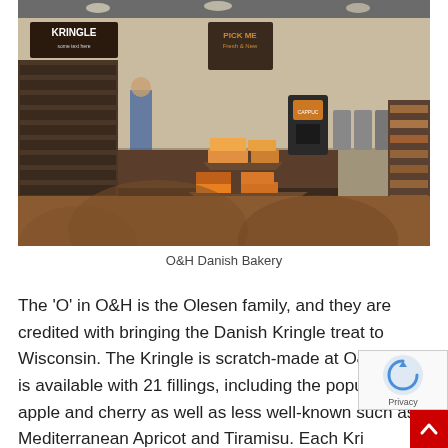[Figure (photo): Interior of O&H Danish Bakery showing a tiered wooden display stand with baked goods in the center, shelving with products on the left, bakery display cases on the right, and a cappuccino machine in the background. A 'Kringle' sign hangs above the shelving on the left.]
O&H Danish Bakery
The 'O' in O&H is the Olesen family, and they are credited with bringing the Danish Kringle treat to Wisconsin. The Kringle is scratch-made at O&H and is available with 21 fillings, including the popular apple and cherry as well as less well-known such as Mediterranean Apricot and Tiramisu. Each Kri...